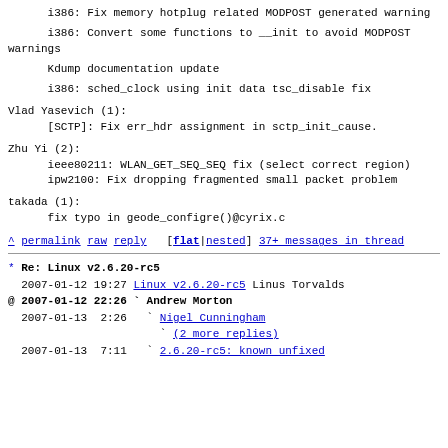i386: Fix memory hotplug related MODPOST generated warning
i386: Convert some functions to __init to avoid MODPOST warnings
Kdump documentation update
i386: sched_clock using init data tsc_disable fix
Vlad Yasevich (1):
      [SCTP]: Fix err_hdr assignment in sctp_init_cause.
Zhu Yi (2):
      ieee80211: WLAN_GET_SEQ_SEQ fix (select correct region)
      ipw2100: Fix dropping fragmented small packet problem
takada (1):
      fix typo in geode_configre()@cyrix.c
^ permalink raw reply   [flat|nested] 37+ messages in thread
* Re: Linux v2.6.20-rc5
  2007-01-12 19:27 Linux v2.6.20-rc5 Linus Torvalds
@ 2007-01-12 22:26 ` Andrew Morton
  2007-01-13  2:26   ` Nigel Cunningham
                       (2 more replies)
  2007-01-13  7:11   ` 2.6.20-rc5: known unfixed